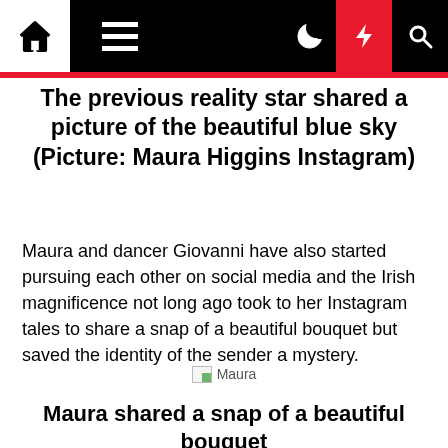Navigation bar with home, menu, moon, lightning, and search icons
The previous reality star shared a picture of the beautiful blue sky (Picture: Maura Higgins Instagram)
Maura and dancer Giovanni have also started pursuing each other on social media and the Irish magnificence not long ago took to her Instagram tales to share a snap of a beautiful bouquet but saved the identity of the sender a mystery.
[Figure (photo): Broken image placeholder labeled Maura]
Maura shared a snap of a beautiful bouquet